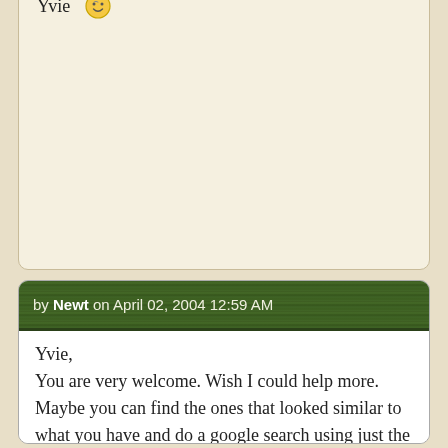imagine if I could figure out what kind it was, things would be easier, but I can't even seem to find that.

Thanks for your help!
Yvie

* * * *
----

Yvie 😊
by Newt on April 02, 2004 12:59 AM
Yvie,
You are very welcome. Wish I could help more. Maybe you can find the ones that looked similar to what you have and do a google search using just the first of the Latin names. Click on 'Images' and see if you can find a site that might have several listed. Can't be that many bromelaid sites out there. Do you have a picture of it?